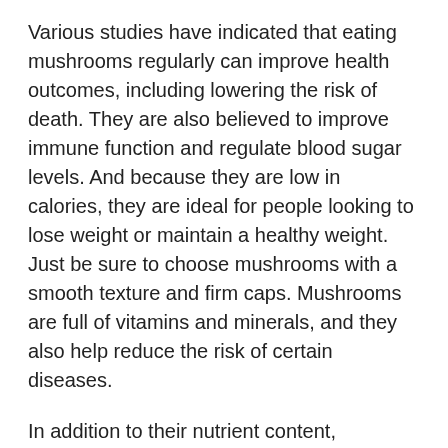Various studies have indicated that eating mushrooms regularly can improve health outcomes, including lowering the risk of death. They are also believed to improve immune function and regulate blood sugar levels. And because they are low in calories, they are ideal for people looking to lose weight or maintain a healthy weight. Just be sure to choose mushrooms with a smooth texture and firm caps. Mushrooms are full of vitamins and minerals, and they also help reduce the risk of certain diseases.
In addition to their nutrient content, mushrooms have also been shown to improve mood and alleviate stress. Certain species are believed to decrease inflammation, a condition known to impact mood, energy, and cognition. Inflammation has also been linked to age-related neurodegenerative diseases. Finally, mushrooms are a great source of vitamin D. In addition to being low in